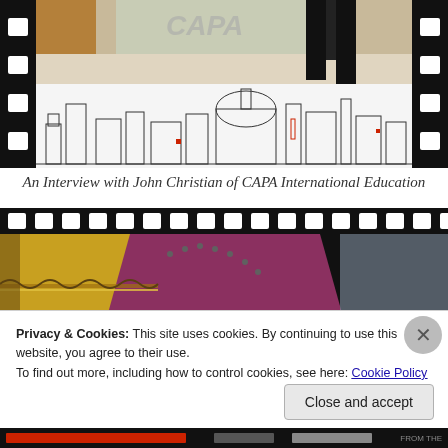[Figure (photo): Film strip style image showing two frames: top frame shows a person standing in front of a CAPA International Education logo/door, bottom frame shows a black and white illustrated city skyline (London).]
An Interview with John Christian of CAPA International Education
[Figure (photo): Film strip style image showing colorful decorative costume or textile detail with embroidery in yellow, blue and purple/maroon tones.]
Privacy & Cookies: This site uses cookies. By continuing to use this website, you agree to their use.
To find out more, including how to control cookies, see here: Cookie Policy